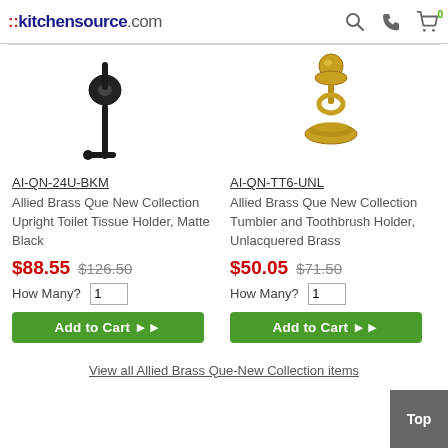::kitchensource.com
[Figure (photo): Black upright toilet tissue holder mounted on wall bracket]
AI-QN-24U-BKM
Allied Brass Que New Collection Upright Toilet Tissue Holder, Matte Black
$88.55 $126.50
How Many? 1
Add to Cart ▶▶
[Figure (photo): Gold/unlacquered brass tumbler and toothbrush holder with ball finial]
AI-QN-TT6-UNL
Allied Brass Que New Collection Tumbler and Toothbrush Holder, Unlacquered Brass
$50.05 $71.50
How Many? 1
Add to Cart ▶▶
View all Allied Brass Que-New Collection items